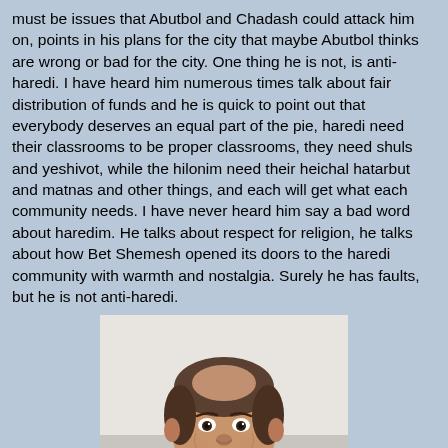must be issues that Abutbol and Chadash could attack him on, points in his plans for the city that maybe Abutbol thinks are wrong or bad for the city. One thing he is not, is anti-haredi. I have heard him numerous times talk about fair distribution of funds and he is quick to point out that everybody deserves an equal part of the pie, haredi need their classrooms to be proper classrooms, they need shuls and yeshivot, while the hilonim need their heichal hatarbut and matnas and other things, and each will get what each community needs. I have never heard him say a bad word about haredim. He talks about respect for religion, he talks about how Bet Shemesh opened its doors to the haredi community with warmth and nostalgia. Surely he has faults, but he is not anti-haredi.
[Figure (photo): Portrait photo of a middle-aged man with short dark hair, smiling, wearing a dark suit jacket and light blue shirt, photographed against a light background.]